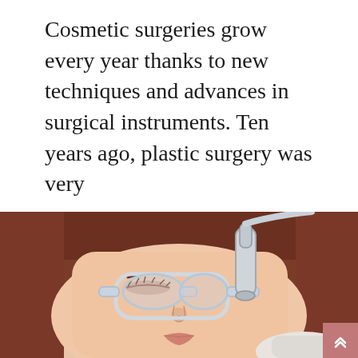Cosmetic surgeries grow every year thanks to new techniques and advances in surgical instruments. Ten years ago, plastic surgery was very
Read More
[Figure (photo): Woman lying down receiving a cosmetic laser or skin treatment on her face, wearing protective goggles, with a medical device being applied near her eye area by a gloved hand.]